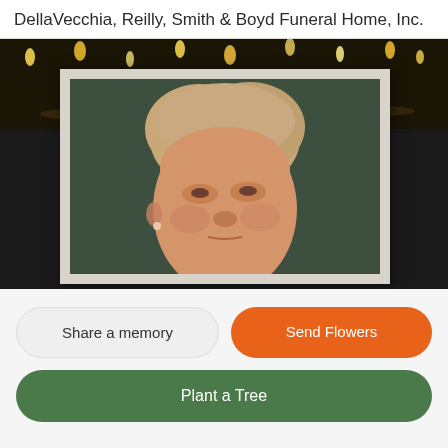DellaVecchia, Reilly, Smith & Boyd Funeral Home, Inc.
[Figure (photo): Framed portrait photo of an elderly woman with short light-colored hair, smiling slightly, against a dark green background. The photo is displayed with a white/cream frame on a dark background with candles visible.]
Share a memory
Send Flowers
Plant a Tree